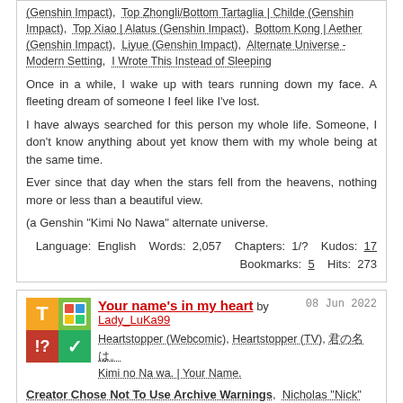(Genshin Impact),  Top Zhongli/Bottom Tartaglia | Childe (Genshin Impact),  Top Xiao | Alatus (Genshin Impact),  Bottom Kong | Aether (Genshin Impact),  Liyue (Genshin Impact),  Alternate Universe - Modern Setting,  I Wrote This Instead of Sleeping
Once in a while, I wake up with tears running down my face. A fleeting dream of someone I feel like I've lost.
I have always searched for this person my whole life. Someone, I don't know anything about yet know them with my whole being at the same time.
Ever since that day when the stars fell from the heavens, nothing more or less than a beautiful view.
(a Genshin "Kimi No Nawa" alternate universe.
Language:  English   Words:  2,057   Chapters:  1/?   Kudos:  17   Bookmarks:  5   Hits:  273
Your name's in my heart by Lady_LuKa99   08 Jun 2022
Heartstopper (Webcomic), Heartstopper (TV), 君の名は。 Kimi no Na wa. | Your Name.
Creator Chose Not To Use Archive Warnings,  Nicholas "Nick" Nelson/Charles "Charlie" Spring,  Elle Argent/Tao Xu,  Nicholas "Nick"